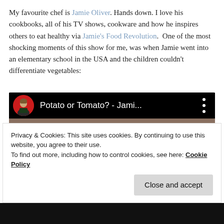My favourite chef is Jamie Oliver. Hands down. I love his cookbooks, all of his TV shows, cookware and how he inspires others to eat healthy via Jamie's Food Revolution.  One of the most shocking moments of this show for me, was when Jamie went into an elementary school in the USA and the children couldn't differentiate vegetables:
[Figure (screenshot): YouTube video thumbnail showing 'Potato or Tomato? - Jami...' with Jamie Oliver avatar icon, dark top bar, and scene of children in a classroom holding tomatoes.]
Privacy & Cookies: This site uses cookies. By continuing to use this website, you agree to their use.
To find out more, including how to control cookies, see here: Cookie Policy